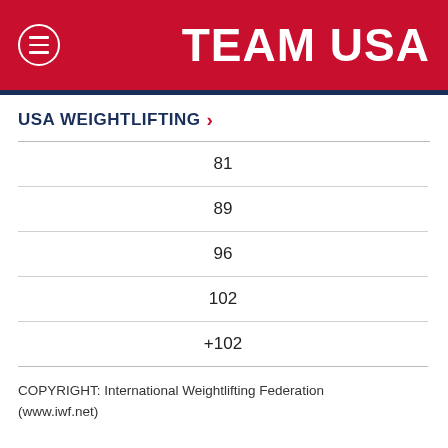TEAM USA
USA WEIGHTLIFTING >
| 81 |
| 89 |
| 96 |
| 102 |
| +102 |
COPYRIGHT: International Weightlifting Federation (www.iwf.net)